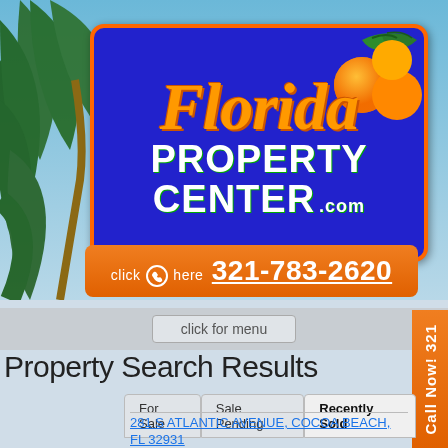[Figure (logo): Florida Property Center .com logo on blue background with orange border, cursive orange Florida text, white bold PROPERTY CENTER text, orange citrus fruit illustration, on a sky/palm tree background]
click here 321-783-2620
click for menu
Property Search Results
For Sale | Sale Pending | Recently Sold
281 S ATLANTIC AVENUE, COCOA BEACH, FL 32931
Call Now! 321